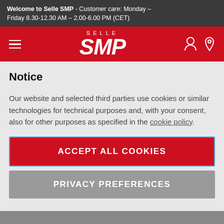Welcome to Selle SMP - Customer care: Monday – Friday 8.30-12.30 AM – 2.00-6.00 PM (CET)
[Figure (logo): Selle SMP logo in white on red background with hamburger menu and navigation icons]
Notice
Our website and selected third parties use cookies or similar technologies for technical purposes and, with your consent, also for other purposes as specified in the cookie policy.
ACCEPT ALL COOKIES
PRIVACY PREFERENCES